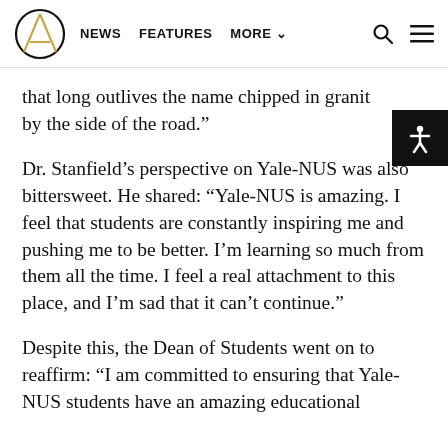NEWS  FEATURES  MORE
that long outlives the name chipped in granite by the side of the road.”
Dr. Stanfield’s perspective on Yale-NUS was also bittersweet. He shared: “Yale-NUS is amazing. I feel that students are constantly inspiring me and pushing me to be better. I’m learning so much from them all the time. I feel a real attachment to this place, and I’m sad that it can’t continue.”
Despite this, the Dean of Students went on to reaffirm: “I am committed to ensuring that Yale-NUS students have an amazing educational…”